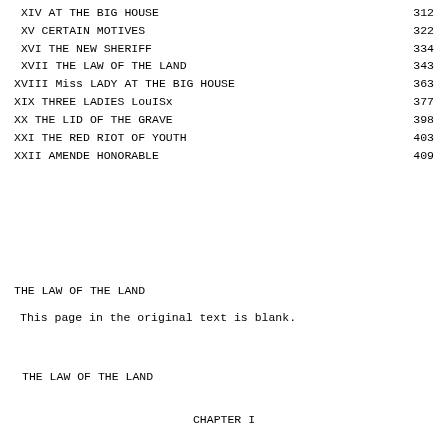| Chapter | Page |
| --- | --- |
| XIV AT THE BIG HOUSE | 312 |
| XV CERTAIN MOTIVES | 322 |
| XVI THE NEW SHERIFF | 334 |
| XVII THE LAW OF THE LAND | 343 |
| XVIII Miss LADY AT THE BIG HOUSE | 363 |
| XIX THREE LADIES LouISx | 377 |
| XX THE LID OF THE GRAVE | 398 |
| XXI THE RED RIOT OF YOUTH | 403 |
| XXII AMENDE HONORABLE | 409 |
THE LAW OF THE LAND
This page in the original text is blank.
THE LAW OF THE LAND
CHAPTER I